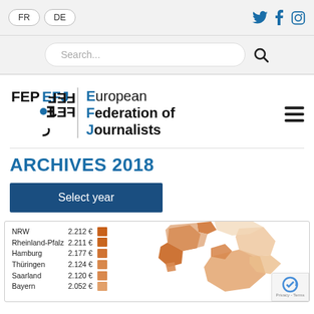FR | DE | Twitter | Facebook | Instagram
Search...
[Figure (logo): European Federation of Journalists (EFJ/FEJ) logo with text]
ARCHIVES 2018
Select year
[Figure (map): Choropleth map of Germany showing regional salary data with legend listing NRW 2.212€, Rheinland-Pfalz 2.211€, Hamburg 2.177€, Thüringen 2.124€, Saarland 2.120€, Bayern 2.052€]